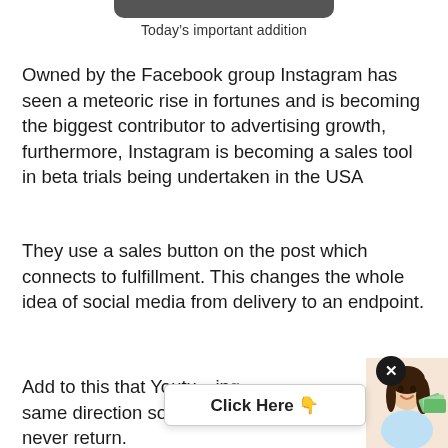Today’s important addition
Owned by the Facebook group Instagram has seen a meteoric rise in fortunes and is becoming the biggest contributor to advertising growth, furthermore, Instagram is becoming a sales tool in beta trials being undertaken in the USA
They use a sales button on the post which connects to fulfillment. This changes the whole idea of social media from delivery to an endpoint.
Add to this that Youtu…ing same direction so the world will change… never return.